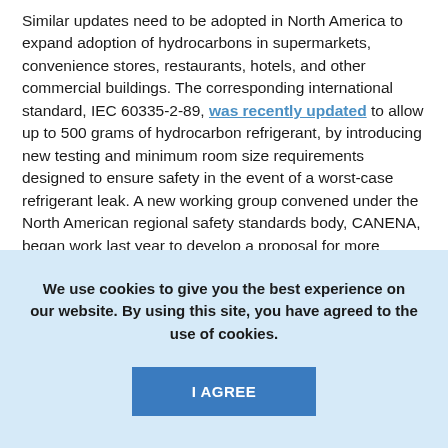Similar updates need to be adopted in North America to expand adoption of hydrocarbons in supermarkets, convenience stores, restaurants, hotels, and other commercial buildings. The corresponding international standard, IEC 60335-2-89, was recently updated to allow up to 500 grams of hydrocarbon refrigerant, by introducing new testing and minimum room size requirements designed to ensure safety in the event of a worst-case refrigerant leak. A new working group convened under the North American regional safety standards body, CANENA, began work last year to develop a proposal for more closely harmonizing with
We use cookies to give you the best experience on our website. By using this site, you have agreed to the use of cookies.
I AGREE